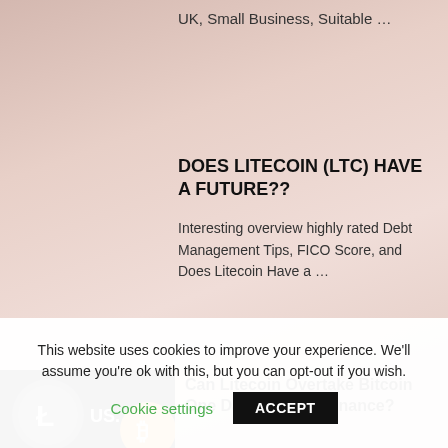UK, Small Business, Suitable …
DOES LITECOIN (LTC) HAVE A FUTURE??
Interesting overview highly rated Debt Management Tips, FICO Score, and Does Litecoin Have a …
[Figure (photo): Image showing Litecoin and Bitcoin logos with text 'US.']
Can Litecoin Overtake Bitcoin One Day? LTC Dominance?
This website uses cookies to improve your experience. We'll assume you're ok with this, but you can opt-out if you wish.
Cookie settings
ACCEPT